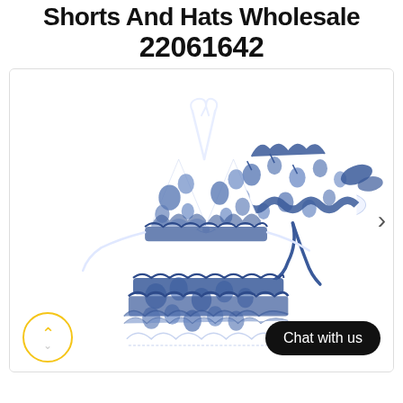Shorts And Hats Wholesale 22061642
[Figure (photo): Children's blue and white floral swimsuit set consisting of a halter triangle bikini top with ruffles and bow, ruffled shorts/skirt bottoms, and a matching sun bonnet hat with blue ribbon ties, displayed on white background]
Chat with us